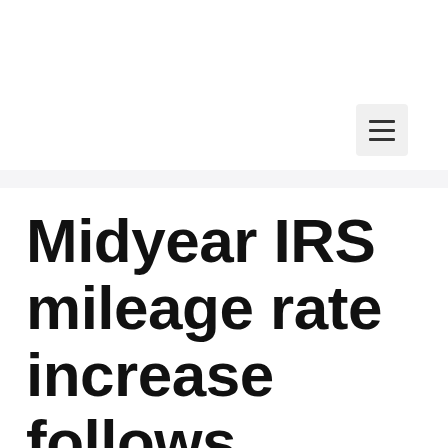≡
Midyear IRS mileage rate increase follows precedent, recent pleas